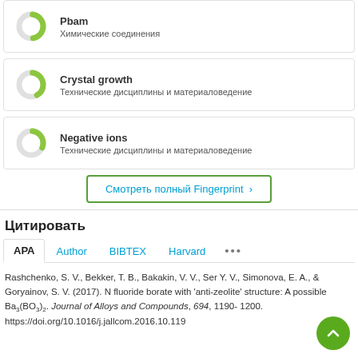[Figure (other): Donut chart icon with green arc for Pbam - Химические соединения]
Pbam
Химические соединения
[Figure (other): Donut chart icon with green arc for Crystal growth - Технические дисциплины и материаловедение]
Crystal growth
Технические дисциплины и материаловедение
[Figure (other): Donut chart icon with green arc for Negative ions - Технические дисциплины и материаловедение]
Negative ions
Технические дисциплины и материаловедение
Смотреть полный Fingerprint ›
Цитировать
APA   Author   BIBTEX   Harvard   ...
Rashchenko, S. V., Bekker, T. B., Bakakin, V. V., Ser... Y. V., Simonova, E. A., & Goryainov, S. V. (2017). N... fluoride borate with 'anti-zeolite' structure: A possible... Ba3(BO3)2. Journal of Alloys and Compounds, 694, 1190-1200. https://doi.org/10.1016/j.jallcom.2016.10.119